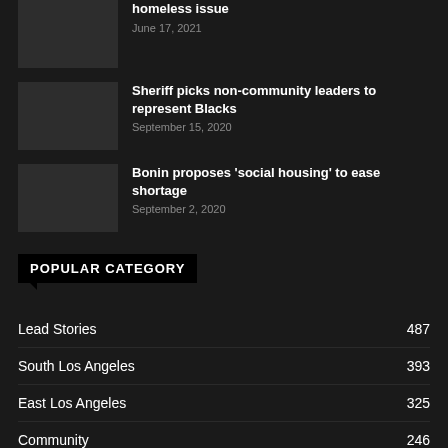homeless issue
June 17, 2021
Sheriff picks non-community leaders to represent Blacks
September 15, 2020
Bonin proposes 'social housing' to ease shortage
September 2, 2020
POPULAR CATEGORY
Lead Stories 487
South Los Angeles 393
East Los Angeles 325
Community 246